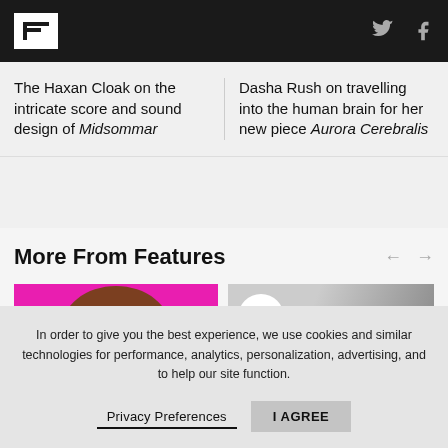FACT Magazine header with logo, Twitter and Facebook icons
The Haxan Cloak on the intricate score and sound design of Midsommar
Dasha Rush on travelling into the human brain for her new piece Aurora Cerebralis
More From Features
[Figure (illustration): Pink/magenta background with a brown vinyl record circle and a blue dot, partial view]
[Figure (photo): Black and white photo with FACT 2019 badge overlaid, person partially visible]
In order to give you the best experience, we use cookies and similar technologies for performance, analytics, personalization, advertising, and to help our site function.
Privacy Preferences    I AGREE